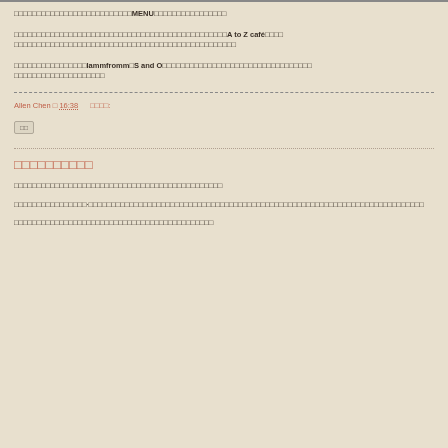□□□□□□□□□□□□□□□□□□□□□□□□□□MENU□□□□□□□□□□□□□□□□
□□□□□□□□□□□□□□□□□□□□□□□□□□□□□□□□□□□□□□□□□□□□□□□A to Z café□□□□□□□□□□□□□□□□□□□□□□□□□□□□□□□□□□□□□□□□□□□□□□□□
□□□□□□□□□□□□□□□□lammfromm□S and O□□□□□□□□□□□□□□□□□□□□□□□□□□□□□□□□□□□□□□□□□□□□□□□
Allen Chen □ 16:38   □□□□:
□□
□□□□□□□□□□
□□□□□□□□□□□□□□□□□□□□□□□□□□□□□□□□□□□□□□□□□□□□□□
□□□□□□□□□□□□□□□□·□□□□□□□□□□□□□□□□□□□□□□□□□□□□□□□□□□□□□□□□□□□□□□□□□□□□□□□□□□□□□□□□□
□□□□□□□□□□□□□□□□□□□□□□□□□□□□□□□□□□□□□□□□□□□□